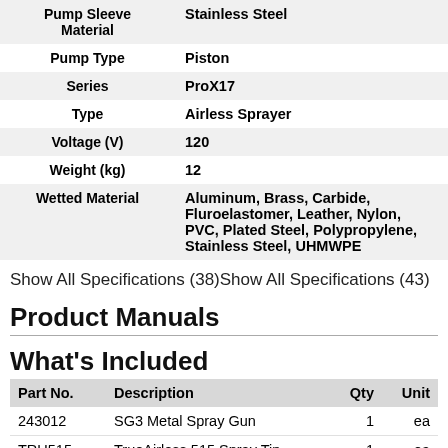|  |  |
| --- | --- |
| Pump Sleeve Material | Stainless Steel |
| Pump Type | Piston |
| Series | ProX17 |
| Type | Airless Sprayer |
| Voltage (V) | 120 |
| Weight (kg) | 12 |
| Wetted Material | Aluminum, Brass, Carbide, Fluroelastomer, Leather, Nylon, PVC, Plated Steel, Polypropylene, Stainless Steel, UHMWPE |
Show All Specifications (38)Show All Specifications (43)
Product Manuals
What's Included
| Part No. | Description | Qty | Unit |
| --- | --- | --- | --- |
| 243012 | SG3 Metal Spray Gun | 1 | ea |
| TRU515 | TrueAirless 515 Spray Tip | 1 | ea |